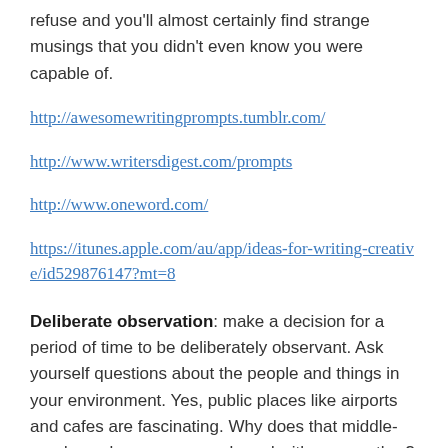refuse and you'll almost certainly find strange musings that you didn't even know you were capable of.
http://awesomewritingprompts.tumblr.com/
http://www.writersdigest.com/prompts
http://www.oneword.com/
https://itunes.apple.com/au/app/ideas-for-writing-creative/id529876147?mt=8
Deliberate observation: make a decision for a period of time to be deliberately observant. Ask yourself questions about the people and things in your environment. Yes, public places like airports and cafes are fascinating. Why does that middle-aged couple appear so awkward with one another?